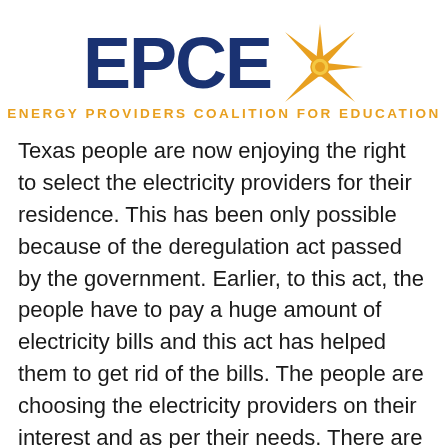[Figure (logo): EPCE logo: large bold dark blue letters 'EPCE' with a golden starburst/sun icon to the right, and the tagline 'Energy Providers Coalition for Education' in gold small-caps below]
Texas people are now enjoying the right to select the electricity providers for their residence. This has been only possible because of the deregulation act passed by the government. Earlier, to this act, the people have to pay a huge amount of electricity bills and this act has helped them to get rid of the bills. The people are choosing the electricity providers on their interest and as per their needs. There are lots of electricity providing companies in each city and one can select any company. The companies are in huge competition